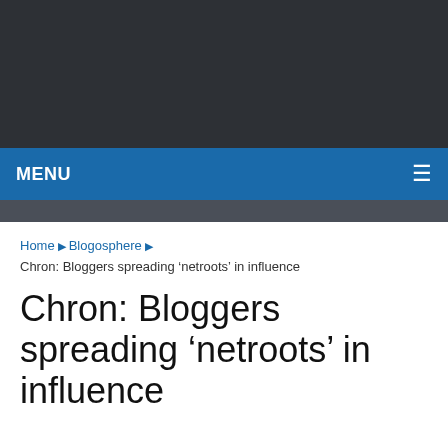MENU
Home › Blogosphere › Chron: Bloggers spreading 'netroots' in influence
Chron: Bloggers spreading 'netroots' in influence
We use cookies to ensure that we give you the best experience on our website. If you continue to use this site we will assume that you consent to this usage.
Accept   Privacy policy